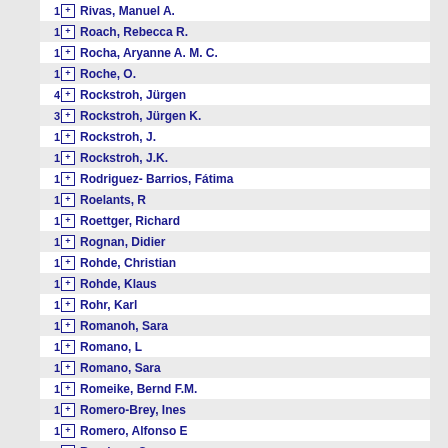1 Rivas, Manuel A.
1 Roach, Rebecca R.
1 Rocha, Aryanne A. M. C.
1 Roche, O.
4 Rockstroh, Jürgen
3 Rockstroh, Jürgen K.
1 Rockstroh, J.
1 Rockstroh, J.K.
1 Rodriguez- Barrios, Fátima
1 Roelants, R
1 Roettger, Richard
1 Rognan, Didier
1 Rohde, Christian
1 Rohde, Klaus
1 Rohr, Karl
1 Romanoh, Sara
1 Romano, L
1 Romano, Sara
1 Romeike, Bernd F.M.
1 Romero-Brey, Ines
1 Romero, Alfonso E
1 Rondeau, C